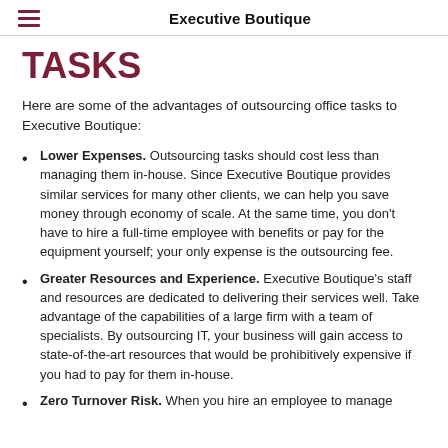Executive Boutique
TASKS
Here are some of the advantages of outsourcing office tasks to Executive Boutique:
Lower Expenses. Outsourcing tasks should cost less than managing them in-house. Since Executive Boutique provides similar services for many other clients, we can help you save money through economy of scale. At the same time, you don't have to hire a full-time employee with benefits or pay for the equipment yourself; your only expense is the outsourcing fee.
Greater Resources and Experience. Executive Boutique's staff and resources are dedicated to delivering their services well. Take advantage of the capabilities of a large firm with a team of specialists. By outsourcing IT, your business will gain access to state-of-the-art resources that would be prohibitively expensive if you had to pay for them in-house.
Zero Turnover Risk. When you hire an employee to manage